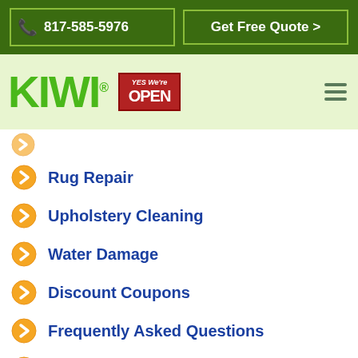817-585-5976  |  Get Free Quote >
[Figure (logo): KIWI logo with registered trademark symbol, YES We're OPEN badge, and hamburger menu icon on light green background]
Rug Repair
Upholstery Cleaning
Water Damage
Discount Coupons
Frequently Asked Questions
Reviews
[Figure (infographic): Flooded? emergency help promotional banner with blue button]